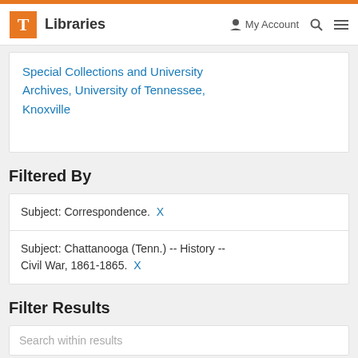T Libraries | My Account | Search | Menu
Special Collections and University Archives, University of Tennessee, Knoxville
Filtered By
Subject: Correspondence. X
Subject: Chattanooga (Tenn.) -- History -- Civil War, 1861-1865. X
Filter Results
Search within results